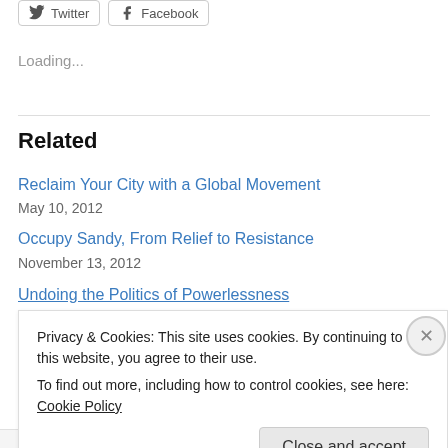[Figure (other): Social media share buttons for Twitter and Facebook]
Loading...
Related
Reclaim Your City with a Global Movement
May 10, 2012
Occupy Sandy, From Relief to Resistance
November 13, 2012
Undoing the Politics of Powerlessness
Privacy & Cookies: This site uses cookies. By continuing to use this website, you agree to their use.
To find out more, including how to control cookies, see here: Cookie Policy